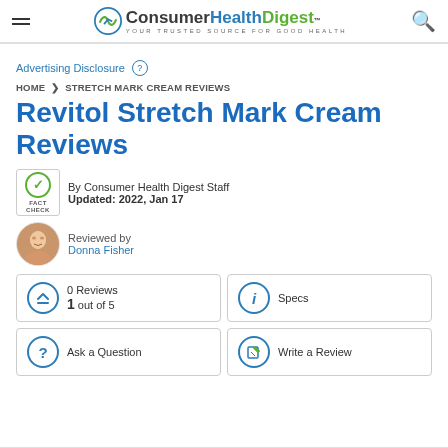Consumer Health Digest™ — Your Trusted Source For Good Health
Advertising Disclosure ?
HOME > STRETCH MARK CREAM REVIEWS
Revitol Stretch Mark Cream Reviews
By Consumer Health Digest Staff
Updated: 2022, Jan 17
Reviewed by
Donna Fisher
0 Reviews
1 out of 5
Specs
Ask a Question
Write a Review